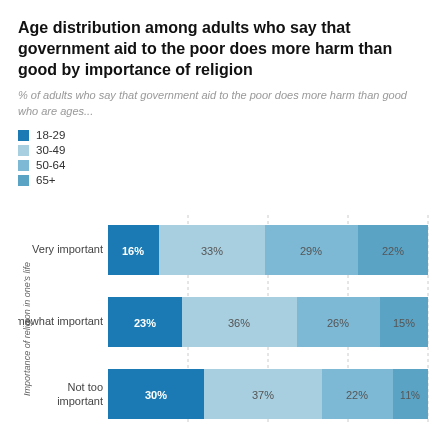Age distribution among adults who say that government aid to the poor does more harm than good by importance of religion
% of adults who say that government aid to the poor does more harm than good who are ages...
18-29
30-49
50-64
65+
[Figure (stacked-bar-chart): Age distribution among adults who say that government aid to the poor does more harm than good by importance of religion]